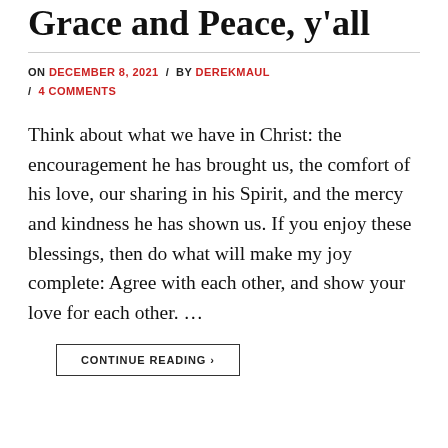Grace and Peace, y'all
ON DECEMBER 8, 2021 / BY DEREKMAUL / 4 COMMENTS
Think about what we have in Christ: the encouragement he has brought us, the comfort of his love, our sharing in his Spirit, and the mercy and kindness he has shown us. If you enjoy these blessings, then do what will make my joy complete: Agree with each other, and show your love for each other. ...
CONTINUE READING →